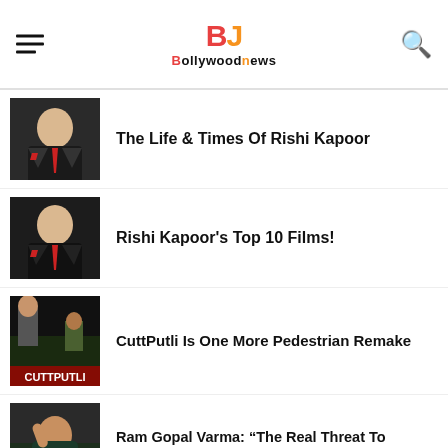BJBollywoodnews
The Life & Times Of Rishi Kapoor
Rishi Kapoor's Top 10 Films!
CuttPutli Is One More Pedestrian Remake
Ram Gopal Varma: “The Real Threat To Cinema Is YouTube, Not OTT”
Shocking: Farhan Akhtar & Ritesh